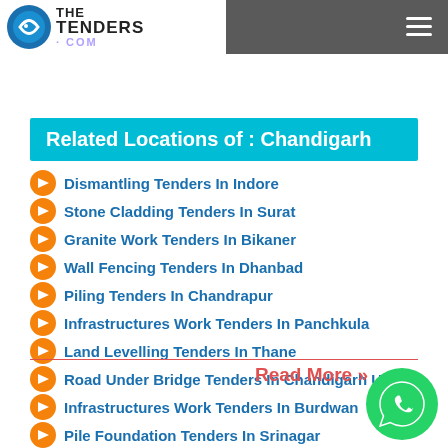The Tenders .COM
Related Locations of : Chandigarh
Dismantling Tenders In Indore
Stone Cladding Tenders In Surat
Granite Work Tenders In Bikaner
Wall Fencing Tenders In Dhanbad
Piling Tenders In Chandrapur
Infrastructures Work Tenders In Panchkula
Land Levelling Tenders In Thane
Road Under Bridge Tenders In Chandigarh Ut
Infrastructures Work Tenders In Burdwan
Pile Foundation Tenders In Srinagar
Read More »